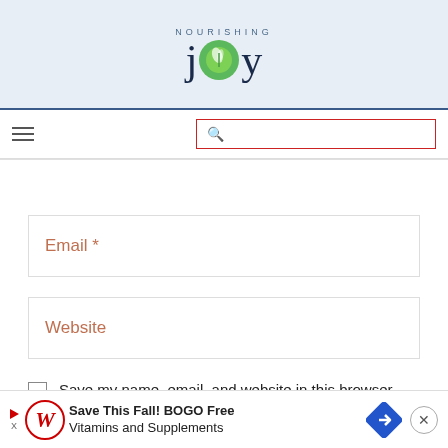[Figure (logo): Nourishing Joy logo with green circle in the o of joy]
[Figure (screenshot): Navigation bar with hamburger menu and red-bordered search box]
Email *
Website
Save my name, email, and website in this browser for the next time I comment.
[Figure (screenshot): Walgreens ad banner: Save This Fall! BOGO Free Vitamins and Supplements]